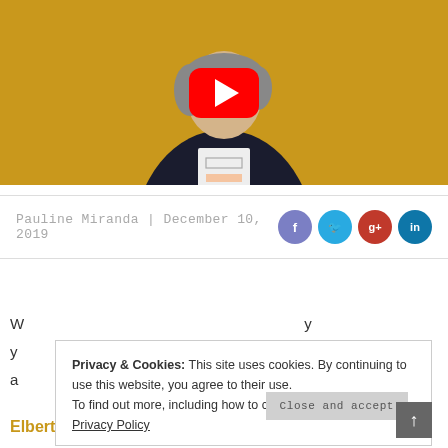[Figure (screenshot): YouTube video thumbnail showing a man in a dark blazer against a golden yellow background, with a large red YouTube play button overlay in the center.]
Pauline Miranda | December 10, 2019
[Figure (infographic): Social sharing icons: Facebook (purple), Twitter (blue), Google+ (red), LinkedIn (teal), all circular.]
W... y... a... Elbert Cuenca of Metronome, Elbert's Steak Room, and
Privacy & Cookies: This site uses cookies. By continuing to use this website, you agree to their use. To find out more, including how to control cookies, see here: Privacy Policy
Close and accept